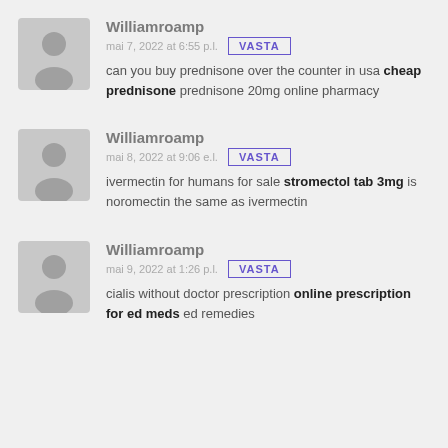Williamroamp
mai 7, 2022 at 6:55 p.l.
can you buy prednisone over the counter in usa cheap prednisone prednisone 20mg online pharmacy
Williamroamp
mai 8, 2022 at 9:06 e.l.
ivermectin for humans for sale stromectol tab 3mg is noromectin the same as ivermectin
Williamroamp
mai 9, 2022 at 1:26 p.l.
cialis without doctor prescription online prescription for ed meds ed remedies